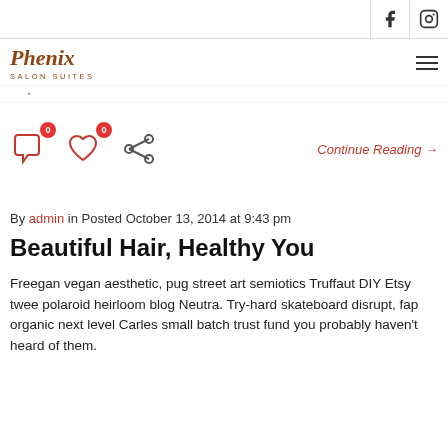Phenix Salon Suites — Facebook, Instagram icons
[Figure (logo): Phenix Salon Suites logo in brown serif italic font]
[Figure (infographic): Social sharing icons: comment (0), heart (0), share]
Continue Reading →
By admin in Posted October 13, 2014 at 9:43 pm
Beautiful Hair, Healthy You
Freegan vegan aesthetic, pug street art semiotics Truffaut DIY Etsy twee polaroid heirloom blog Neutra. Try-hard skateboard disrupt, fap organic next level Carles small batch trust fund you probably haven't heard of them.